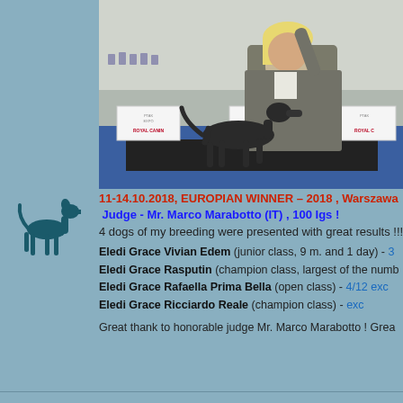[Figure (photo): A woman handler showing a dark Italian Greyhound dog at a dog show exhibition with Royal Canin banners in the background]
[Figure (illustration): Dark teal silhouette of a standing greyhound/Italian Greyhound dog logo]
11-14.10.2018, EUROPIAN WINNER – 2018 , Warszawa
Judge - Mr. Marco Marabotto (IT) , 100 Igs !
4 dogs of my breeding were presented with great results !!!
Eledi Grace Vivian Edem (junior class, 9 m. and 1 day) - 3
Eledi Grace Rasputin (champion class, largest of the numb
Eledi Grace Rafaella Prima Bella (open class) - 4/12 exc
Eledi Grace Ricciardo Reale (champion class) - exc
Great thank to honorable judge Mr. Marco Marabotto ! Grea